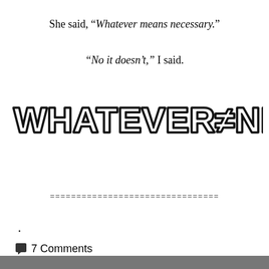She said, “Whatever means necessary.”
“No it doesn’t,” I said.
[Figure (illustration): Large hand-drawn/comic style text reading WHATEVER≠NECESSARY]
================================
.
7 Comments